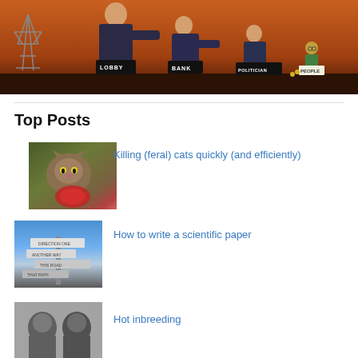[Figure (illustration): Political cartoon showing figures labeled LOBBY, BANK, POLITICIAN robbing or exploiting the PEOPLE, with a power line tower on the left, set against an orange/brown background]
Top Posts
[Figure (photo): Thumbnail photo of a feral cat]
Killing (feral) cats quickly (and efficiently)
[Figure (photo): Thumbnail photo of signposts against a blue sky]
How to write a scientific paper
[Figure (photo): Thumbnail black and white photo]
Hot inbreeding